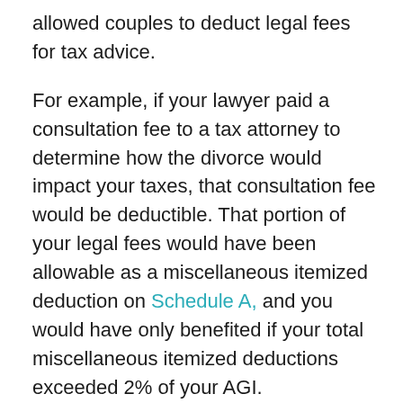allowed couples to deduct legal fees for tax advice.
For example, if your lawyer paid a consultation fee to a tax attorney to determine how the divorce would impact your taxes, that consultation fee would be deductible. That portion of your legal fees would have been allowable as a miscellaneous itemized deduction on Schedule A, and you would have only benefited if your total miscellaneous itemized deductions exceeded 2% of your AGI.
Unfortunately, such fees are no longer deductible under the TCJA. The TCJA eliminated all miscellaneous itemized deductions subject to a 2% floor for the 2018 to 2025 tax years.